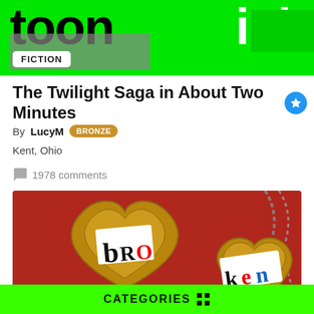[Figure (illustration): Website header banner with green background showing 'toon' in black bold text and 'ink' in white bold text, with gray block and fiction badge]
The Twilight Saga in About Two Minutes ★
By LucyM BRONZE
Kent, Ohio
1978 comments
[Figure (photo): Close-up photo of heart-shaped gold lockets on a red background, with paper clippings showing letters 'bRO' and 'ken']
CATEGORIES